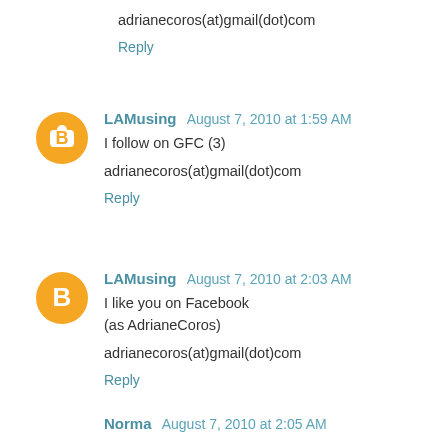adrianecoros(at)gmail(dot)com
Reply
LAMusing  August 7, 2010 at 1:59 AM
I follow on GFC (3)
adrianecoros(at)gmail(dot)com
Reply
LAMusing  August 7, 2010 at 2:03 AM
I like you on Facebook
(as AdrianeCoros)
adrianecoros(at)gmail(dot)com
Reply
Norma  August 7, 2010 at 2:05 AM